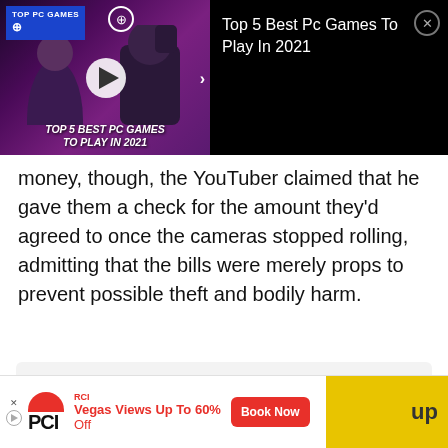[Figure (screenshot): Video thumbnail for 'Top 5 Best PC Games To Play In 2021' with game characters on purple background, play button, and TOP PC GAMES badge]
Top 5 Best Pc Games To Play In 2021
money, though, the YouTuber claimed that he gave them a check for the amount they'd agreed to once the cameras stopped rolling, admitting that the bills were merely props to prevent possible theft and bodily harm.
Subscribe to our newsletter for the latest updates on Esports, Gaming and more.
[Figure (screenshot): RCI advertisement: Vegas Views Up To 60% Off with Book Now button and yellow strip with 'up' text]